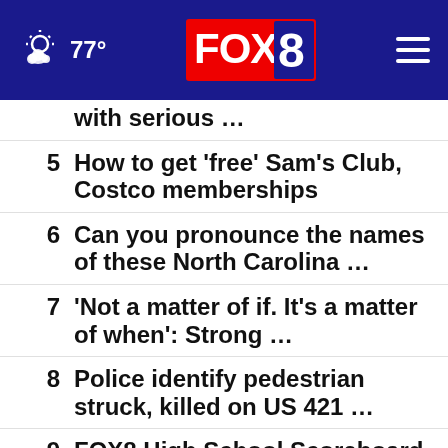77° FOX 8
with serious …
5  How to get 'free' Sam's Club, Costco memberships
6  Can you pronounce the names of these North Carolina …
7  'Not a matter of if. It's a matter of when': Strong …
8  Police identify pedestrian struck, killed on US 421 …
9  FOX8 High School Scoreboard
10  Randolph County armed robbery at Dollar General, …